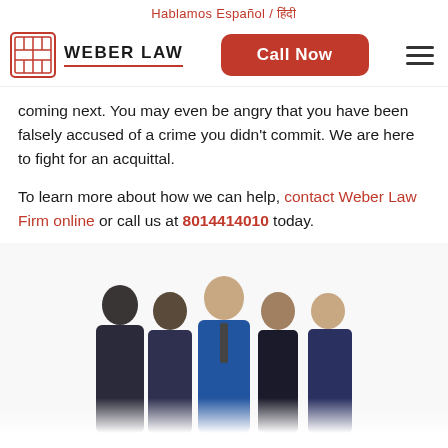Hablamos Español / हिंदी
[Figure (logo): Weber Law firm logo with red Chinese character seal and WEBER LAW text]
coming next. You may even be angry that you have been falsely accused of a crime you didn't commit. We are here to fight for an acquittal.
To learn more about how we can help, contact Weber Law Firm online or call us at 8014414010 today.
[Figure (photo): Group photo of five Weber Law attorneys in formal business attire standing together against a white background]